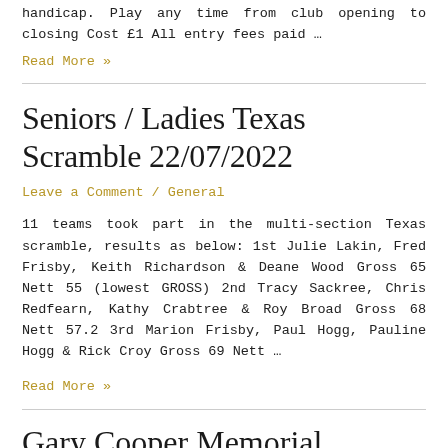handicap. Play any time from club opening to closing Cost £1 All entry fees paid …
Read More »
Seniors / Ladies Texas Scramble 22/07/2022
Leave a Comment / General
11 teams took part in the multi-section Texas scramble, results as below: 1st Julie Lakin, Fred Frisby, Keith Richardson & Deane Wood Gross 65 Nett 55 (lowest GROSS) 2nd Tracy Sackree, Chris Redfearn, Kathy Crabtree & Roy Broad Gross 68 Nett 57.2 3rd Marion Frisby, Paul Hogg, Pauline Hogg & Rick Croy Gross 69 Nett …
Read More »
Gary Cooper Memorial